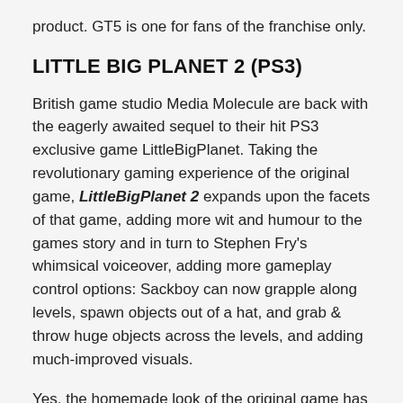product. GT5 is one for fans of the franchise only.
LITTLE BIG PLANET 2 (PS3)
British game studio Media Molecule are back with the eagerly awaited sequel to their hit PS3 exclusive game LittleBigPlanet. Taking the revolutionary gaming experience of the original game, LittleBigPlanet 2 expands upon the facets of that game, adding more wit and humour to the games story and in turn to Stephen Fry's whimsical voiceover, adding more gameplay control options: Sackboy can now grapple along levels, spawn objects out of a hat, and grab & throw huge objects across the levels, and adding much-improved visuals.
Yes, the homemade look of the original game has been refined and streamlined into something more… beautiful. Aesthetically more pleasing to the eye, LittleBigPlanet 2 is fully for a little something to show that it has it...